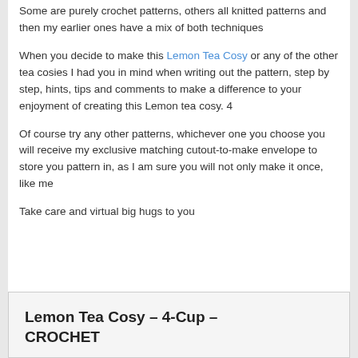Some are purely crochet patterns, others all knitted patterns and then my earlier ones have a mix of both techniques
When you decide to make this Lemon Tea Cosy or any of the other tea cosies I had you in mind when writing out the pattern, step by step, hints, tips and comments to make a difference to your enjoyment of creating this Lemon tea cosy. 4
Of course try any other patterns, whichever one you choose you will receive my exclusive matching cutout-to-make envelope to store you pattern in, as I am sure you will not only make it once, like me
Take care and virtual big hugs to you
Lemon Tea Cosy – 4-Cup – CROCHET